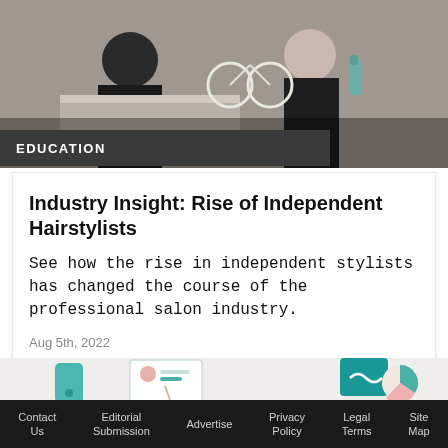[Figure (photo): Photograph of two women in a hair salon setting, wearing black tops, with salon equipment visible in the background.]
EDUCATION
Industry Insight: Rise of Independent Hairstylists
See how the rise in independent stylists has changed the course of the professional salon industry.
Aug 5th, 2022
[Figure (illustration): Illustration showing icons of a person with a form, a teal card with a wavy line, a clipboard, a phone, a woman with curly hair, and a pie chart — representing salon industry tools and analytics.]
Contact Us   Editorial Submission   Advertise   Privacy Policy   Legal Terms   Site Map